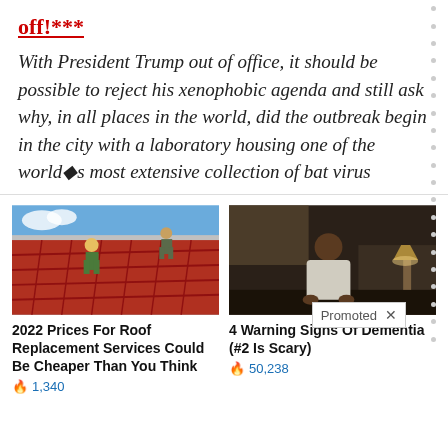off!***
With President Trump out of office, it should be possible to reject his xenophobic agenda and still ask why, in all places in the world, did the outbreak begin in the city with a laboratory housing one of the world�s most extensive collection of bat virus
Promoted X
[Figure (photo): Two workers on a red tile roof, one wearing a yellow hard hat, working on roof replacement]
2022 Prices For Roof Replacement Services Could Be Cheaper Than You Think
1,340
[Figure (photo): Elderly person sitting on a bed in dim light, appearing contemplative or unwell]
4 Warning Signs Of Dementia (#2 Is Scary)
50,238